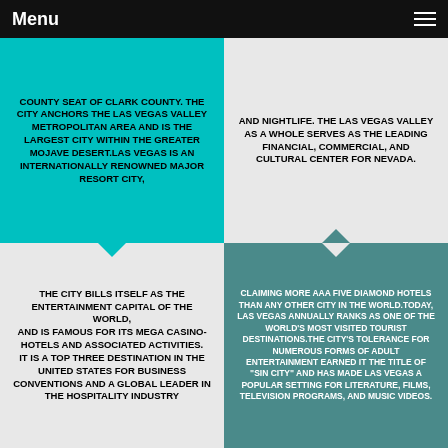Menu
COUNTY SEAT OF CLARK COUNTY. THE CITY ANCHORS THE LAS VEGAS VALLEY METROPOLITAN AREA AND IS THE LARGEST CITY WITHIN THE GREATER MOJAVE DESERT.LAS VEGAS IS AN INTERNATIONALLY RENOWNED MAJOR RESORT CITY,
AND NIGHTLIFE. THE LAS VEGAS VALLEY AS A WHOLE SERVES AS THE LEADING FINANCIAL, COMMERCIAL, AND CULTURAL CENTER FOR NEVADA.
THE CITY BILLS ITSELF AS THE ENTERTAINMENT CAPITAL OF THE WORLD, AND IS FAMOUS FOR ITS MEGA CASINO-HOTELS AND ASSOCIATED ACTIVITIES. IT IS A TOP THREE DESTINATION IN THE UNITED STATES FOR BUSINESS CONVENTIONS AND A GLOBAL LEADER IN THE HOSPITALITY INDUSTRY
CLAIMING MORE AAA FIVE DIAMOND HOTELS THAN ANY OTHER CITY IN THE WORLD.TODAY, LAS VEGAS ANNUALLY RANKS AS ONE OF THE WORLD'S MOST VISITED TOURIST DESTINATIONS.THE CITY'S TOLERANCE FOR NUMEROUS FORMS OF ADULT ENTERTAINMENT EARNED IT THE TITLE OF "SIN CITY" AND HAS MADE LAS VEGAS A POPULAR SETTING FOR LITERATURE, FILMS, TELEVISION PROGRAMS, AND MUSIC VIDEOS.